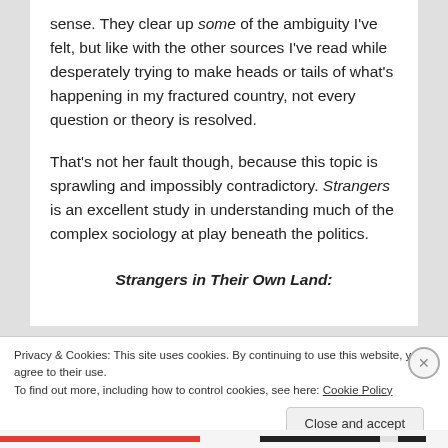sense. They clear up some of the ambiguity I've felt, but like with the other sources I've read while desperately trying to make heads or tails of what's happening in my fractured country, not every question or theory is resolved.

That's not her fault though, because this topic is sprawling and impossibly contradictory. Strangers is an excellent study in understanding much of the complex sociology at play beneath the politics.
Strangers in Their Own Land:
Privacy & Cookies: This site uses cookies. By continuing to use this website, you agree to their use.
To find out more, including how to control cookies, see here: Cookie Policy